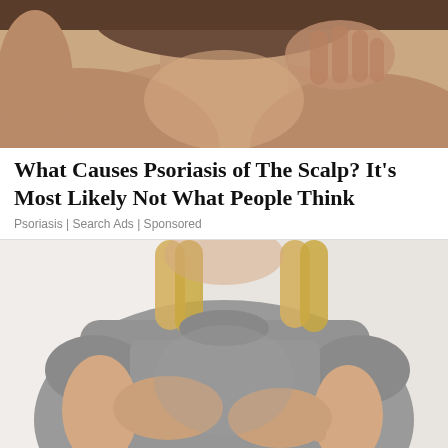[Figure (photo): Close-up photo of a person scratching the back of their scalp/neck, visible skin and short gray hair, brown/tan skin tones]
What Causes Psoriasis of The Scalp? It's Most Likely Not What People Think
Psoriasis | Search Ads | Sponsored
[Figure (photo): Photo of a woman in a gray t-shirt holding her stomach/abdomen with both hands, blonde hair, white background]